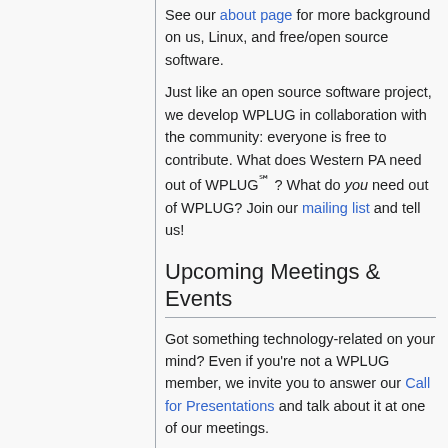See our about page for more background on us, Linux, and free/open source software.
Just like an open source software project, we develop WPLUG in collaboration with the community: everyone is free to contribute. What does Western PA need out of WPLUG℠? What do you need out of WPLUG? Join our mailing list and tell us!
Upcoming Meetings & Events
Got something technology-related on your mind? Even if you're not a WPLUG member, we invite you to answer our Call for Presentations and talk about it at one of our meetings.
Subscribe to the wplug-announce